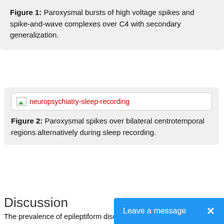Figure 1: Paroxysmal bursts of high voltage spikes and spike-and-wave complexes over C4 with secondary generalization.
[Figure (photo): Broken image placeholder for neuropsychiatry-sleep-recording]
Figure 2: Paroxysmal spikes over bilateral centrotemporal regions alternatively during sleep recording.
Discussion
The prevalence of epileptiform discharges in patients with ADHD has been reported to range from 6.1% [15] to 53%, [20] which is much higher than that for healthy children (3.5%) [21]. The wide variation in the frequency of EEG abnormalities may be d... methods, duration of EEG, EEG...